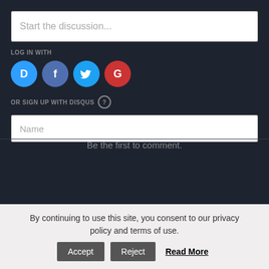Start the discussion...
LOG IN WITH
[Figure (logo): Social login icons: Disqus (D, blue), Facebook (f, dark blue), Twitter (bird, light blue), Google (G, red)]
OR SIGN UP WITH DISQUS ?
Name
Be the first to comment.
By continuing to use this site, you consent to our privacy policy and terms of use.
Accept
Reject
Read More